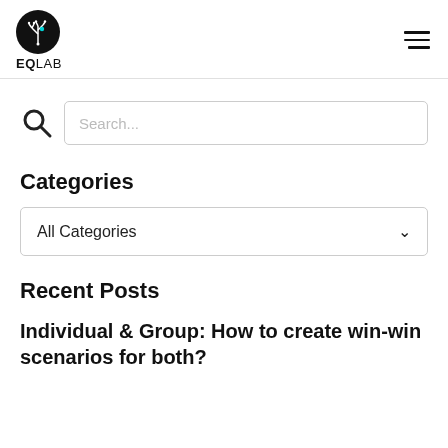EQLAB
[Figure (logo): EQLAB logo: black circle with white tree/circuit branch illustration and cyan dot, with EQLAB text below (EQ bold)]
Search...
Categories
All Categories
Recent Posts
Individual & Group: How to create win-win scenarios for both?